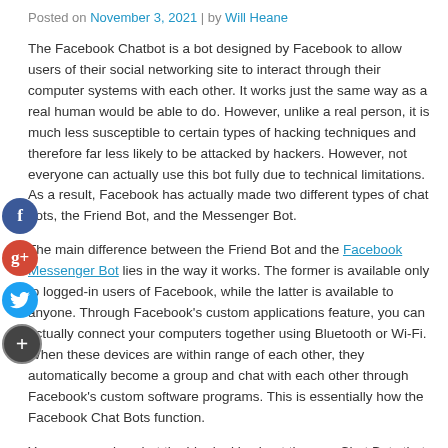Posted on November 3, 2021 | by Will Heane
The Facebook Chatbot is a bot designed by Facebook to allow users of their social networking site to interact through their computer systems with each other. It works just the same way as a real human would be able to do. However, unlike a real person, it is much less susceptible to certain types of hacking techniques and therefore far less likely to be attacked by hackers. However, not everyone can actually use this bot fully due to technical limitations. As a result, Facebook has actually made two different types of chat bots, the Friend Bot, and the Messenger Bot.
The main difference between the Friend Bot and the Facebook Messenger Bot lies in the way it works. The former is available only to logged-in users of Facebook, while the latter is available to anyone. Through Facebook's custom applications feature, you can actually connect your computers together using Bluetooth or Wi-Fi. When these devices are within range of each other, they automatically become a group and chat with each other through Facebook's custom software programs. This is essentially how the Facebook Chat Bots function.
You may wonder what the big deal is about the new Chat Bots that Facebook has created. Well, there are actually a number of advantages that make Chat Bots more attractive than their older ancestors. First of all, the new chat bots are much more interactive than their predecessors. This is great for both Facebook customers who want to get started and potential customers who